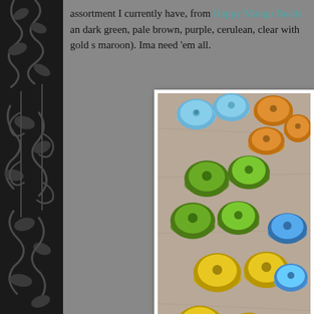[Figure (illustration): Black decorative sidebar with dark grey floral/scroll ornamental pattern on the left side of the page]
assortment I currently have, from Happy Mango Beads and dark green, pale brown, purple, cerulean, clear with gold s maroon). Ima need 'em all.
[Figure (photo): Colorful glass disc beads in blue, amber/orange, green, yellow and clear colors piled together on a surface]
What I like about them is 1) they are the perfect size for an lightweight, so, great for earrings, 3) The holes are plenty through there to create sturdy links (and if you have to rea buttah), 4) The holes are smooth so not likely to cut throu texture, somewhat like a stone, but translucent. What's no